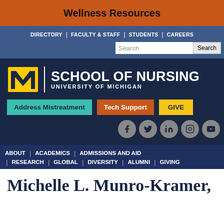Wellness Resources
DIRECTORY | FACULTY & STAFF | STUDENTS | CAREERS
[Figure (logo): University of Michigan School of Nursing logo with yellow M block letter and white text]
Address Mistreatment  Tech Support  GIVE
Social media icons: Facebook, Twitter, LinkedIn, Instagram, YouTube
ABOUT | ACADEMICS | ADMISSIONS AND AID | RESEARCH | GLOBAL | DIVERSITY | ALUMNI | GIVING
Michelle L. Munro-Kramer,